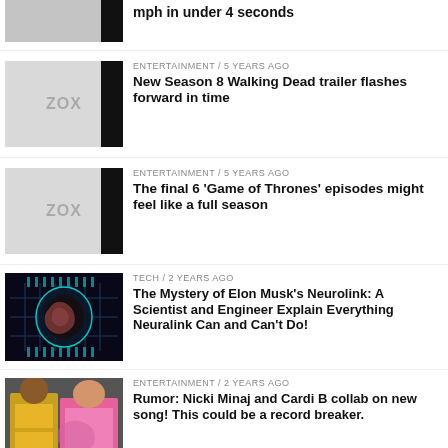[Figure (photo): Partial thumbnail image at top, cropped, dark photo with black right bar]
mph in under 4 seconds
[Figure (photo): ZOX placeholder thumbnail with black right bar]
ENTERTAINMENT / 5 years ago
New Season 8 Walking Dead trailer flashes forward in time
[Figure (photo): ZOX placeholder thumbnail with black right bar]
ENTERTAINMENT / 5 years ago
The final 6 'Game of Thrones' episodes might feel like a full season
[Figure (photo): Neurolink brain chip on circuit board, teal glow]
TECH / 2 years ago
The Mystery of Elon Musk's Neurolink: A Scientist and Engineer Explain Everything Neuralink Can and Can't Do!
[Figure (photo): Two female musicians on red carpet, pink and yellow outfits]
ENTERTAINMENT / 2 years ago
Rumor: Nicki Minaj and Cardi B collab on new song! This could be a record breaker.
[Figure (photo): Colorful abstract health article thumbnail]
HEALTH / 2 years ago
5 Simple Steps Experts Say Will Help You